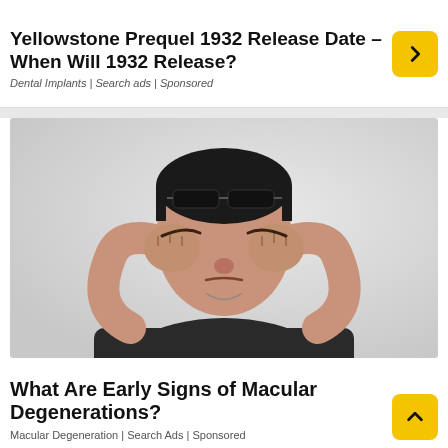Yellowstone Prequel 1932 Release Date – When Will 1932 Release?
Dental Implants | Search ads | Sponsored
[Figure (photo): Man rubbing his eyes with both fists, glasses pushed up on his forehead, wearing a dark shirt, on a light gray background]
What Are Early Signs of Macular Degenerations?
Macular Degeneration | Search Ads | Sponsored